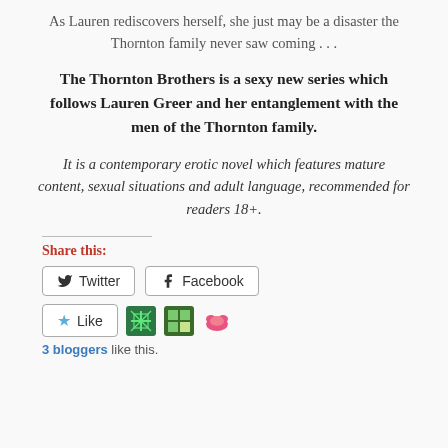As Lauren rediscovers herself, she just may be a disaster the Thornton family never saw coming . . .
The Thornton Brothers is a sexy new series which follows Lauren Greer and her entanglement with the men of the Thornton family.
It is a contemporary erotic novel which features mature content, sexual situations and adult language, recommended for readers 18+.
Share this:
[Figure (other): Twitter and Facebook share buttons]
[Figure (other): Like button with blogger avatars]
3 bloggers like this.